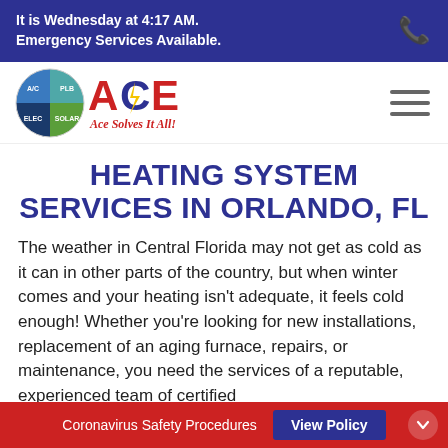It is Wednesday at 4:17 AM. Emergency Services Available.
[Figure (logo): ACE logo with circular badge showing air conditioning, plumbing, electrical, solar quadrants and text 'Ace Solves It All!']
HEATING SYSTEM SERVICES IN ORLANDO, FL
The weather in Central Florida may not get as cold as it can in other parts of the country, but when winter comes and your heating isn’t adequate, it feels cold enough! Whether you’re looking for new installations, replacement of an aging furnace, repairs, or maintenance, you need the services of a reputable, experienced team of certified
Coronavirus Safety Procedures   View Policy